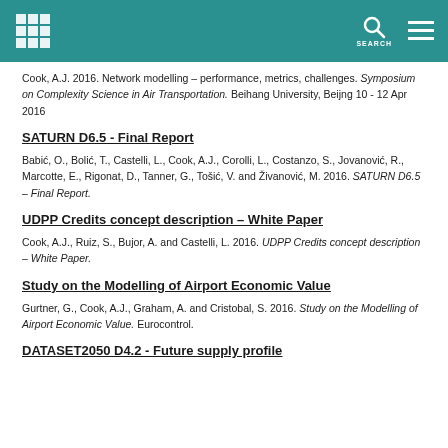EUROCONTROL [logo] SEARCH [menu]
Cook, A.J. 2016. Network modelling – performance, metrics, challenges. Symposium on Complexity Science in Air Transportation. Beihang University, Beijng 10 - 12 Apr 2016
SATURN D6.5 - Final Report
Babić, O., Bolić, T., Castelli, L., Cook, A.J., Corolli, L., Costanzo, S., Jovanović, R., Marcotte, E., Rigonat, D., Tanner, G., Tošić, V. and Živanović, M. 2016. SATURN D6.5 - Final Report.
UDPP Credits concept description – White Paper
Cook, A.J., Ruiz, S., Bujor, A. and Castelli, L. 2016. UDPP Credits concept description – White Paper.
Study on the Modelling of Airport Economic Value
Gurtner, G., Cook, A.J., Graham, A. and Cristobal, S. 2016. Study on the Modelling of Airport Economic Value. Eurocontrol.
DATASET2050 D4.2 - Future supply profile